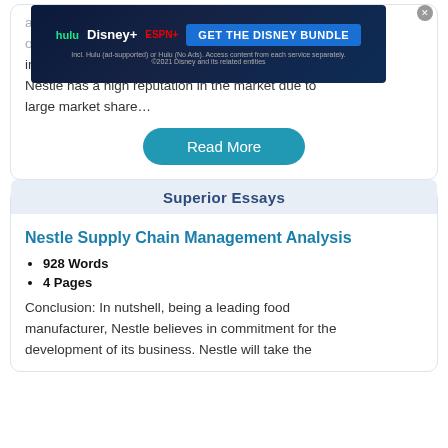improve the quality of products. On the other hand, Nestle has a high reputation in the market due to large market share…
Read More
Superior Essays
Nestle Supply Chain Management Analysis
928 Words
4 Pages
Conclusion: In nutshell, being a leading food manufacturer, Nestle believes in commitment for the development of its business. Nestle will take the